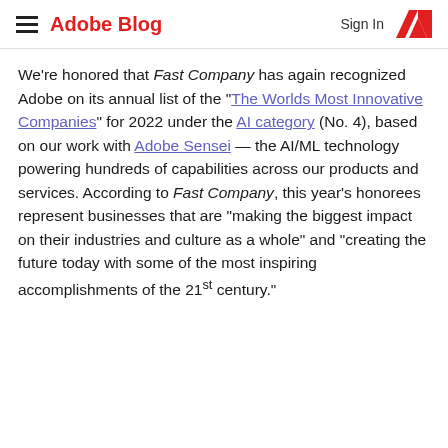Adobe Blog | Sign In
We're honored that Fast Company has again recognized Adobe on its annual list of the "The Worlds Most Innovative Companies" for 2022 under the AI category (No. 4), based on our work with Adobe Sensei — the AI/ML technology powering hundreds of capabilities across our products and services. According to Fast Company, this year's honorees represent businesses that are "making the biggest impact on their industries and culture as a whole" and "creating the future today with some of the most inspiring accomplishments of the 21st century."